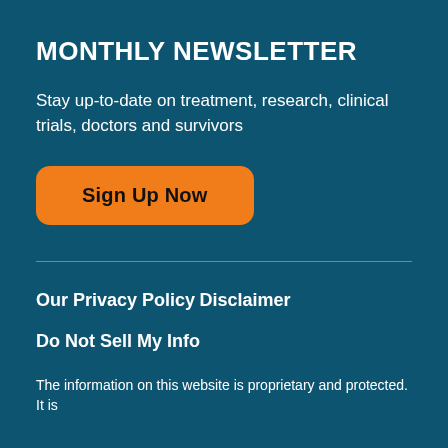MONTHLY NEWSLETTER
Stay up-to-date on treatment, research, clinical trials, doctors and survivors
[Figure (other): Orange rounded button labeled 'Sign Up Now']
Our Privacy Policy
Disclaimer
Do Not Sell My Info
The information on this website is proprietary and protected. It is